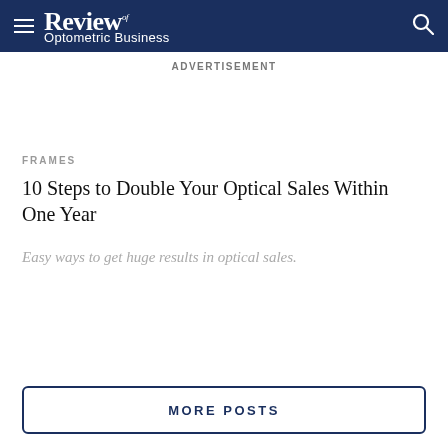Review of Optometric Business
ADVERTISEMENT
FRAMES
10 Steps to Double Your Optical Sales Within One Year
Easy ways to get huge results in optical sales.
MORE POSTS